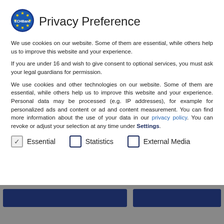Privacy Preference
We use cookies on our website. Some of them are essential, while others help us to improve this website and your experience.
If you are under 16 and wish to give consent to optional services, you must ask your legal guardians for permission.
We use cookies and other technologies on our website. Some of them are essential, while others help us to improve this website and your experience. Personal data may be processed (e.g. IP addresses), for example for personalized ads and content or ad and content measurement. You can find more information about the use of your data in our privacy policy. You can revoke or adjust your selection at any time under Settings.
Essential
Statistics
External Media